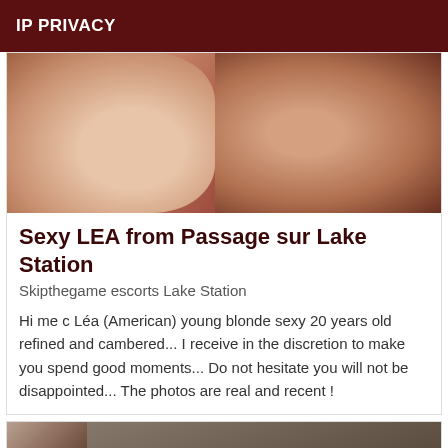IP PRIVACY
[Figure (photo): Close-up photo of a person's legs/knees against a wall background]
Sexy LEA from Passage sur Lake Station
Skipthegame escorts Lake Station
Hi me c Léa (American) young blonde sexy 20 years old refined and cambered... I receive in the discretion to make you spend good moments... Do not hesitate you will not be disappointed... The photos are real and recent !
[Figure (photo): Partial photo of a person with a Verified badge overlay in the bottom right corner]